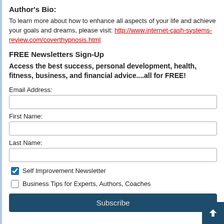Author's Bio:
To learn more about how to enhance all aspects of your life and achieve your goals and dreams, please visit: http://www.internet-cash-systems-review.com/coverthypnosis.html
FREE Newsletters Sign-Up
Access the best success, personal development, health, fitness, business, and financial advice....all for FREE!
Email Address:
First Name:
Last Name:
Self Improvement Newsletter
Business Tips for Experts, Authors, Coaches
Subscribe